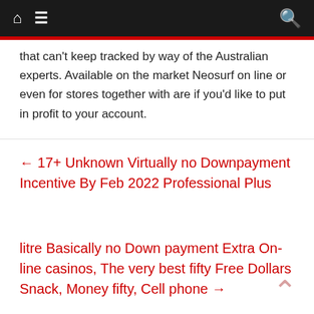Navigation bar with home icon, menu icon, and search icon
that can't keep tracked by way of the Australian experts. Available on the market Neosurf on line or even for stores together with are if you'd like to put in profit to your account.
← 17+ Unknown Virtually no Downpayment Incentive By Feb 2022 Professional Plus
litre Basically no Down payment Extra On-line casinos, The very best fifty Free Dollars Snack, Money fifty, Cell phone →